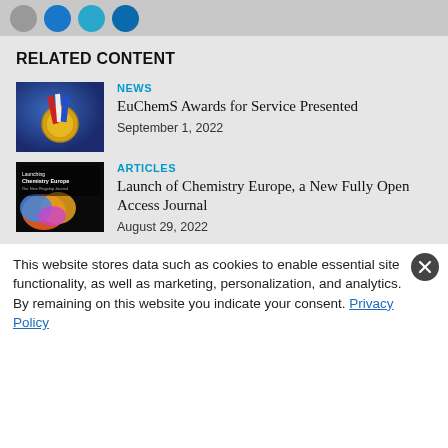[Figure (screenshot): Top bar with social media share circles (grey, blue, teal, dark blue)]
RELATED CONTENT
[Figure (photo): Gold medal with red, white and blue ribbon on blue background]
NEWS
EuChemS Awards for Service Presented
September 1, 2022
[Figure (photo): Cover of Chemistry Europe journal magazine]
ARTICLES
Launch of Chemistry Europe, a New Fully Open Access Journal
August 29, 2022
This website stores data such as cookies to enable essential site functionality, as well as marketing, personalization, and analytics. By remaining on this website you indicate your consent. Privacy Policy